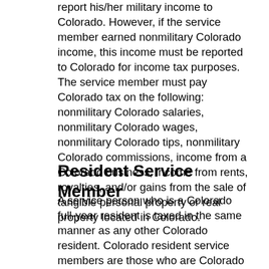report his/her military income to Colorado. However, if the service member earned nonmilitary Colorado income, this income must be reported to Colorado for income tax purposes. The service member must pay Colorado tax on the following: nonmilitary Colorado salaries, nonmilitary Colorado wages, nonmilitary Colorado tips, nonmilitary Colorado commissions, income from a Colorado business, income from rents, royalties, and/or gains from the sale of tangible personal property or real property located in Colorado.
Resident Service Member
A service person who is a Colorado full-year resident is taxed in the same manner as any other Colorado resident. Colorado resident service members are those who are Colorado residents when they enter the service or those who are from another state and who choose to become Colorado